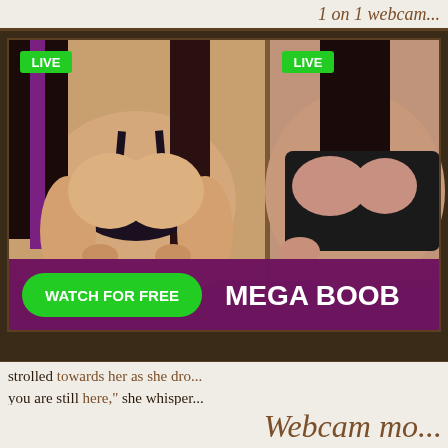1 on 1 webcam...
[Figure (photo): Adult advertising banner showing two side-by-side live webcam thumbnails. Left thumbnail: woman in black lingerie with 'LIVE' badge. Right thumbnail: woman in black Nike sports bra with 'LIVE' badge. Bottom overlay has purple bar with green 'WATCH FOR FREE' button and white bold text 'MEGA BOOB'.]
strolled towards her as she dro... you are still here," she whisper...
Webcam mo...